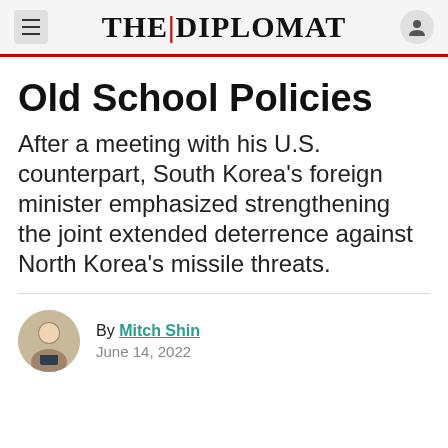THE DIPLOMAT
Old School Policies
After a meeting with his U.S. counterpart, South Korea’s foreign minister emphasized strengthening the joint extended deterrence against North Korea’s missile threats.
By Mitch Shin
June 14, 2022